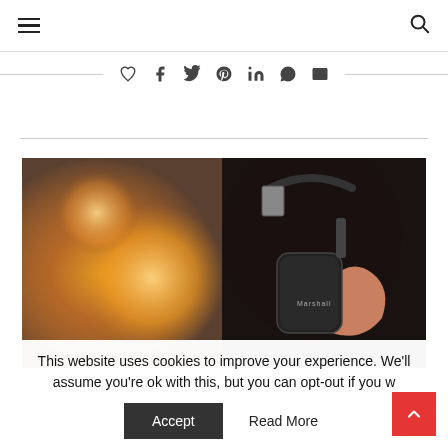Navigation header with hamburger menu and search icon
[Figure (other): Social sharing icons bar (heart, Facebook, Twitter, Pinterest, LinkedIn, WhatsApp, email) with horizontal lines on both sides]
[Figure (photo): Person wearing Marshall brand over-ear headphones, dark hair, warm bokeh lighting in background]
This website uses cookies to improve your experience. We'll assume you're ok with this, but you can opt-out if you w
Accept   Read More